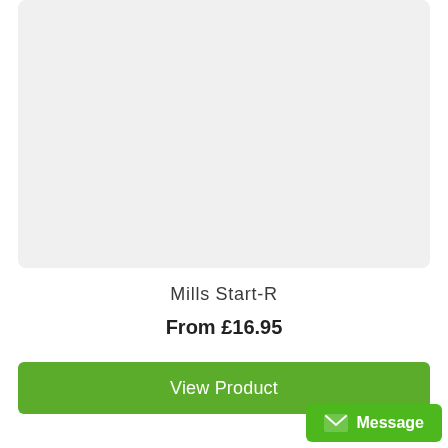[Figure (photo): Product image placeholder — light grey rectangle]
Mills Start-R
From £16.95
View Product
Message